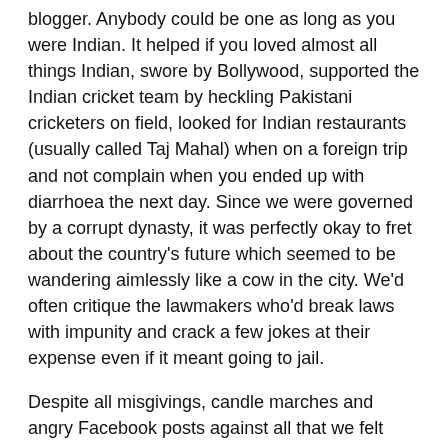blogger. Anybody could be one as long as you were Indian. It helped if you loved almost all things Indian, swore by Bollywood, supported the Indian cricket team by heckling Pakistani cricketers on field, looked for Indian restaurants (usually called Taj Mahal) when on a foreign trip and not complain when you ended up with diarrhoea the next day. Since we were governed by a corrupt dynasty, it was perfectly okay to fret about the country's future which seemed to be wandering aimlessly like a cow in the city. We'd often critique the lawmakers who'd break laws with impunity and crack a few jokes at their expense even if it meant going to jail.
Despite all misgivings, candle marches and angry Facebook posts against all that we felt was wrong with our country, we could take her love for granted. It was a 'tedha hai paar mera hai' kind of love.
Not anymore. Now that our great leader has banished all evil with a flick of his finger and even taken selfies while doing it, we are living the SAD days. This is the golden era where everyone's tolerant towards each other and their beliefs,